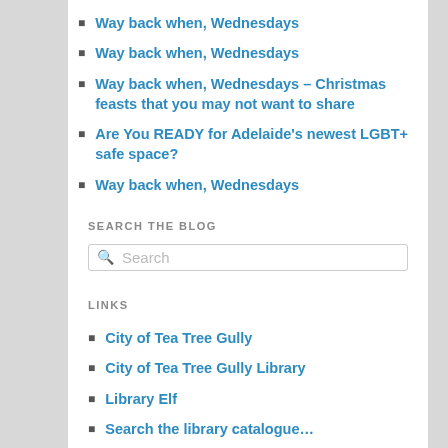Way back when, Wednesdays
Way back when, Wednesdays
Way back when, Wednesdays – Christmas feasts that you may not want to share
Are You READY for Adelaide's newest LGBT+ safe space?
Way back when, Wednesdays
SEARCH THE BLOG
Search
LINKS
City of Tea Tree Gully
City of Tea Tree Gully Library
Library Elf
Search the library catalogue…
RSS FEED
[Figure (logo): RSS feed icon — red rounded square with white radio wave signal arcs and dot]